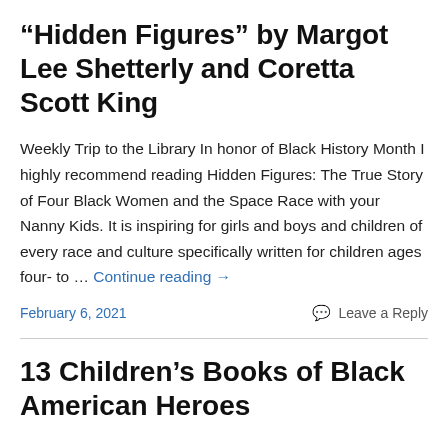“Hidden Figures” by Margot Lee Shetterly and Coretta Scott King
Weekly Trip to the Library In honor of Black History Month I highly recommend reading Hidden Figures: The True Story of Four Black Women and the Space Race with your Nanny Kids. It is inspiring for girls and boys and children of every race and culture specifically written for children ages four- to … Continue reading →
February 6, 2021
Leave a Reply
13 Children’s Books of Black American Heroes